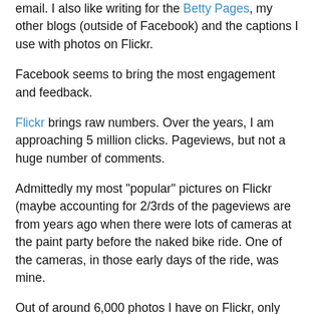email. I also like writing for the Betty Pages, my other blogs (outside of Facebook) and the captions I use with photos on Flickr.
Facebook seems to bring the most engagement and feedback.
Flickr brings raw numbers. Over the years, I am approaching 5 million clicks. Pageviews, but not a huge number of comments.
Admittedly my most "popular" pictures on Flickr (maybe accounting for 2/3rds of the pageviews are from years ago when there were lots of cameras at the paint party before the naked bike ride. One of the cameras, in those early days of the ride, was mine.
Out of around 6,000 photos I have on Flickr, only around 230 are from the naked ride yet they account for the bulk of the hit count. These are accessible to people who set their Flickr preferences to "adult."